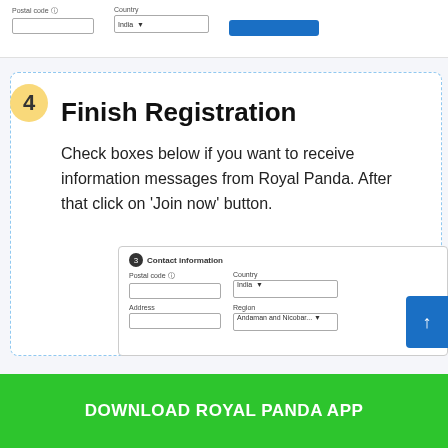[Figure (screenshot): Partial screenshot of a web registration form showing Postal code, Country (India), and a blue button at the top of the page]
4
Finish Registration
Check boxes below if you want to receive information messages from Royal Panda. After that click on ‘Join now’ button.
[Figure (screenshot): Screenshot of Contact information section (step 3) with fields: Postal code, Country (India dropdown), Address, Region (Andaman and Nicobar dropdown)]
DOWNLOAD ROYAL PANDA APP